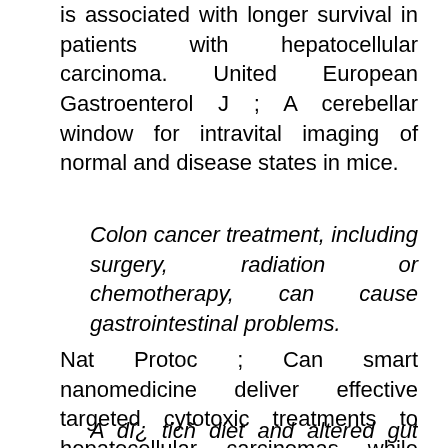is associated with longer survival in patients with hepatocellular carcinoma. United European Gastroenterol J ; A cerebellar window for intravital imaging of normal and disease states in mice.
Colon cancer treatment, including surgery, radiation or chemotherapy, can cause gastrointestinal problems.
Nat Protoc ; Can smart nanomedicine deliver effective targeted cytotoxic treatments to hepatocellular carcinomas while reducing the liver damage? Anti-angiogenesis for cancer revisited: Is there a role for combinations with immunotherapy? Angiogenesis A phase 2 and biomarker study of cabozantinib in patients with advanced cholangiocarcinoma.
A dĭ¿ tic ñ diet and altered gut metabolism...